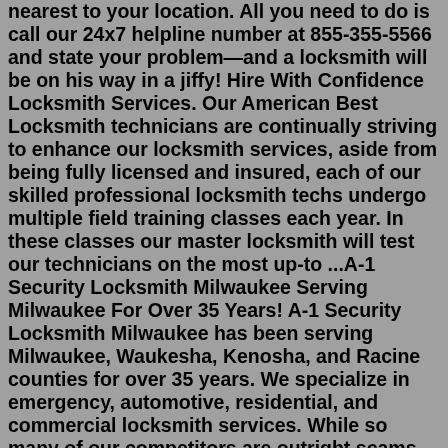nearest to your location. All you need to do is call our 24x7 helpline number at 855-355-5566 and state your problem—and a locksmith will be on his way in a jiffy! Hire With Confidence Locksmith Services. Our American Best Locksmith technicians are continually striving to enhance our locksmith services, aside from being fully licensed and insured, each of our skilled professional locksmith techs undergo multiple field training classes each year. In these classes our master locksmith will test our technicians on the most up-to ...A-1 Security Locksmith Milwaukee Serving Milwaukee For Over 35 Years! A-1 Security Locksmith Milwaukee has been serving Milwaukee, Waukesha, Kenosha, and Racine counties for over 35 years. We specialize in emergency, automotive, residential, and commercial locksmith services. While so many of our competitors are outright scams, you know that by ...Unlock Me & Services Inc provides our Local Locksmithing Services to our customers in Hillsborough, Pinellas and Pasco County. Our office is located in Tampa at 601 North Ashley Dr, Ste 1000...